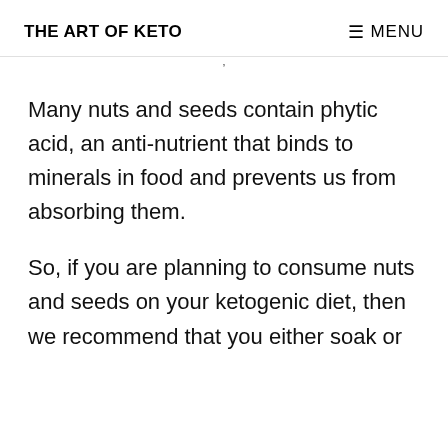THE ART OF KETO   ≡ MENU
Many nuts and seeds contain phytic acid, an anti-nutrient that binds to minerals in food and prevents us from absorbing them.
So, if you are planning to consume nuts and seeds on your ketogenic diet, then we recommend that you either soak or